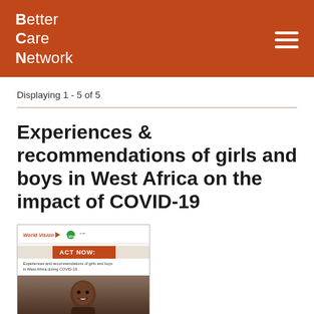Better Care Network
Displaying 1 - 5 of 5
Experiences & recommendations of girls and boys in West Africa on the impact of COVID-19
[Figure (other): Thumbnail cover image of a World Vision report titled 'ACT NOW: Experiences and recommendations of girls and boys in West Africa during COVID-19' featuring a photo of a child]